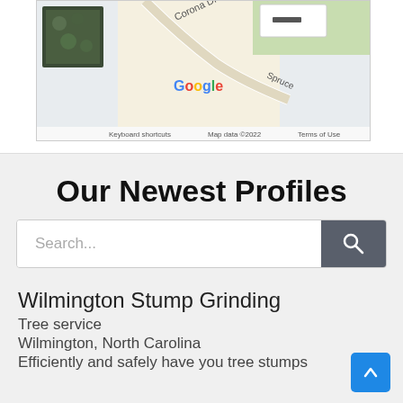[Figure (map): Partial Google Maps screenshot showing Corona Dr, Spruce St area with satellite thumbnail in corner. Bottom bar shows 'Keyboard shortcuts', 'Map data ©2022', 'Terms of Use'.]
Our Newest Profiles
Search...
Wilmington Stump Grinding
Tree service
Wilmington, North Carolina
Efficiently and safely have you tree stumps